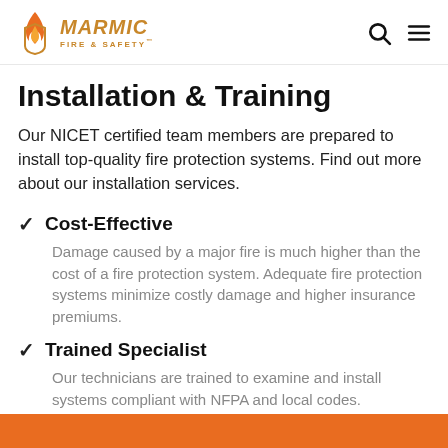Marmic Fire & Safety
Installation & Training
Our NICET certified team members are prepared to install top-quality fire protection systems. Find out more about our installation services.
Cost-Effective
Damage caused by a major fire is much higher than the cost of a fire protection system. Adequate fire protection systems minimize costly damage and higher insurance premiums.
Trained Specialist
Our technicians are trained to examine and install systems compliant with NFPA and local codes.